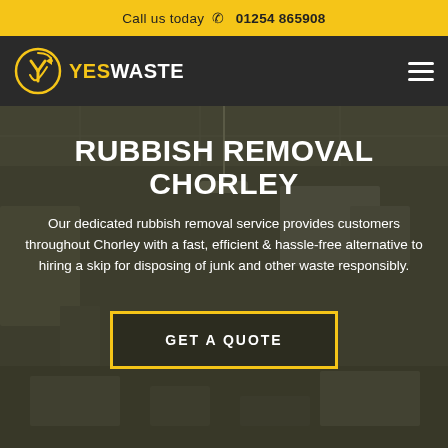Call us today  01254 865908
[Figure (logo): Yes Waste logo: circular yellow icon with Y/checkmark and recycling arrows, followed by text YESWASTE in yellow and white]
RUBBISH REMOVAL CHORLEY
Our dedicated rubbish removal service provides customers throughout Chorley with a fast, efficient & hassle-free alternative to hiring a skip for disposing of junk and other waste responsibly.
GET A QUOTE